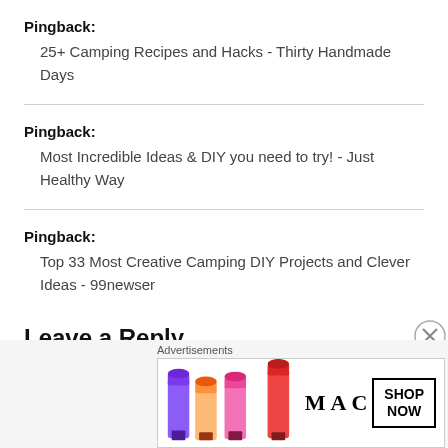Pingback:
25+ Camping Recipes and Hacks - Thirty Handmade Days
Pingback:
Most Incredible Ideas & DIY you need to try! - Just Healthy Way
Pingback:
Top 33 Most Creative Camping DIY Projects and Clever Ideas - 99newser
Leave a Reply
[Figure (illustration): MAC cosmetics advertisement showing lipsticks and Shop Now button]